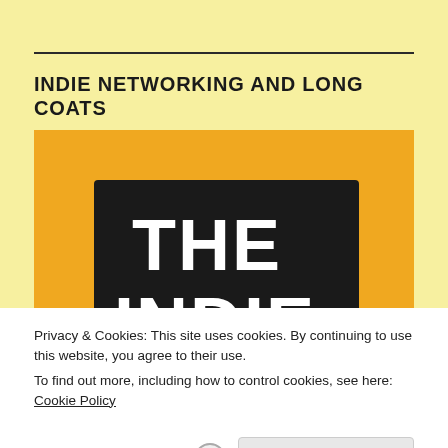INDIE NETWORKING AND LONG COATS
[Figure (illustration): Orange/amber square background with a black rectangular panel displaying bold white text 'THE INDIE' in large uppercase letters, partially visible at bottom.]
Privacy & Cookies: This site uses cookies. By continuing to use this website, you agree to their use.
To find out more, including how to control cookies, see here: Cookie Policy
Close and accept